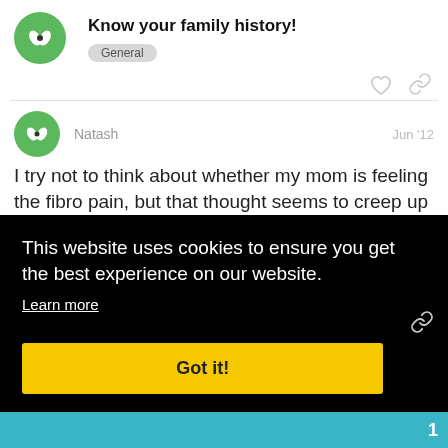Know your family history!
General
Natash   Jun '12
I try not to think about whether my mom is feeling the fibro pain, but that thought seems to creep up every once in a while. She seems to be okay, but I can't help but wonder. I firmly believe that fibro is closely related to stress and if she [continues]...ting, ...ng
This website uses cookies to ensure you get the best experience on our website.
Learn more
Got it!